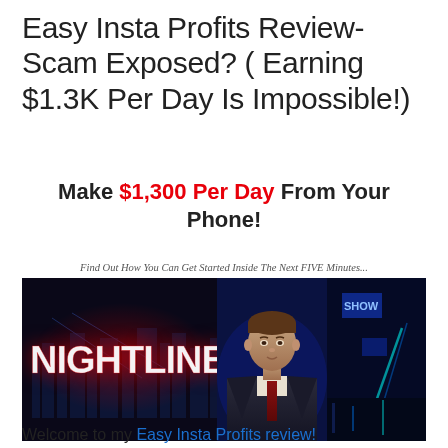Easy Insta Profits Review- Scam Exposed? ( Earning $1.3K Per Day Is Impossible!)
Make $1,300 Per Day From Your Phone!
Find Out How You Can Get Started Inside The Next FIVE Minutes...
[Figure (screenshot): Screenshot of ABC Nightline TV broadcast showing the Nightline logo on the left and a male news anchor on the right with a city background]
Welcome to my Easy Insta Profits review!